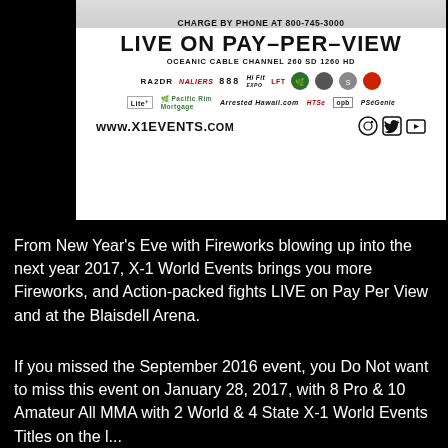[Figure (advertisement): X1 Events Live on Pay-Per-View advertisement showing sponsor logos, Oceanic Cable Channel info, website www.X1EVENTS.com and social media icons]
From New Year's Eve with Fireworks blowing up into the next year 2017, X-1 World Events brings you more Fireworks, and Action-packed fights LIVE on Pay Per View and at the Blaisdell Arena.
If you missed the September 2016 event, you Do Not want to miss this event on January 28, 2017, with 8 Pro & 10 Amateur All MMA with 2 World & 4 State X-1 World Events Titles on the line...